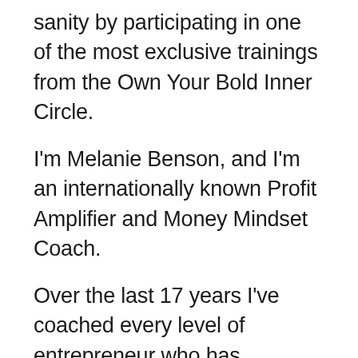sanity by participating in one of the most exclusive trainings from the Own Your Bold Inner Circle.
I'm Melanie Benson, and I'm an internationally known Profit Amplifier and Money Mindset Coach.
Over the last 17 years I've coached every level of entrepreneur who has experienced consistent cash flow challenges and have developed